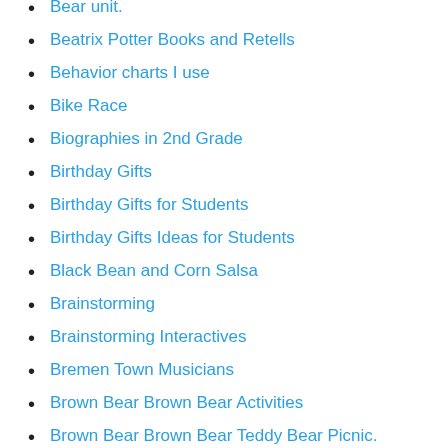Bear unit.
Beatrix Potter Books and Retells
Behavior charts I use
Bike Race
Biographies in 2nd Grade
Birthday Gifts
Birthday Gifts for Students
Birthday Gifts Ideas for Students
Black Bean and Corn Salsa
Brainstorming
Brainstorming Interactives
Bremen Town Musicians
Brown Bear Brown Bear Activities
Brown Bear Brown Bear Teddy Bear Picnic.
butterflies
Butterfly Activities